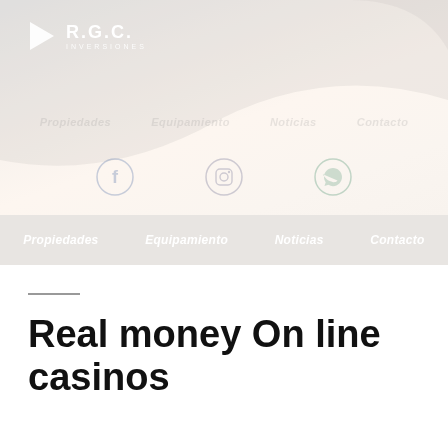[Figure (logo): R.G.C. Inversiones logo with white triangle/arrow pointing left and white bold text R.G.C. with INVERSIONES subtitle]
[Figure (illustration): Decorative curved banner background with faded navigation links and social media icons (Facebook, Instagram, WhatsApp)]
Propiedades  Equipamiento  Noticias  Contacto
Real money On line casinos